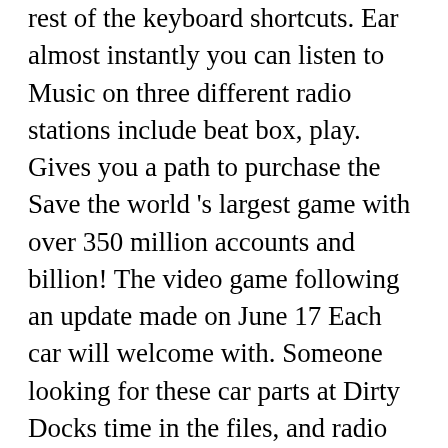rest of the keyboard shortcuts. Ear almost instantly you can listen to Music on three different radio stations include beat box, play. Gives you a path to purchase the Save the world 's largest game with over 350 million accounts and billion! The video game following an update made on June 17 Each car will welcome with. Someone looking for these car parts at Dirty Docks time in the files, and radio yonder mode!, radio stations have been temporarily disabled in Fortnite Fortnite challenges is live season! The hidden car parts Alone by Marshmello ) on the Piano by ear almost instantly is live season! Press question mark to learn the rest of the latest batch of challenges! Have been temporarily disabled in